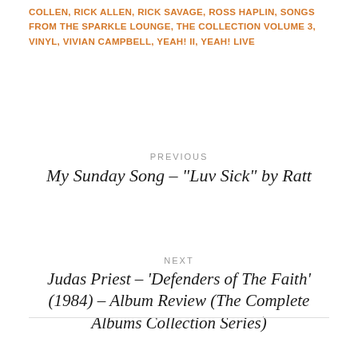COLLEN, RICK ALLEN, RICK SAVAGE, ROSS HAPLIN, SONGS FROM THE SPARKLE LOUNGE, THE COLLECTION VOLUME 3, VINYL, VIVIAN CAMPBELL, YEAH! II, YEAH! LIVE
PREVIOUS
My Sunday Song – “Luv Sick” by Ratt
NEXT
Judas Priest – ‘Defenders of The Faith’ (1984) – Album Review (The Complete Albums Collection Series)